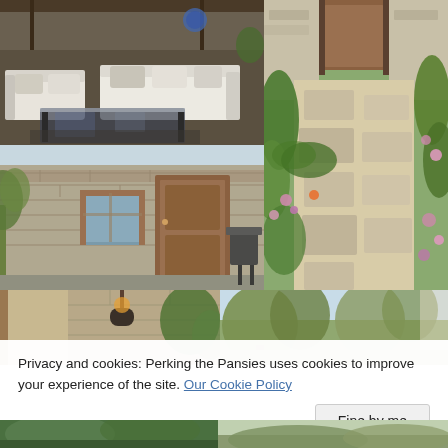[Figure (photo): Outdoor patio area with white sofas, cushions, and a glass coffee table]
[Figure (photo): Garden path with stone pavers, flowering plants, and a wooden door in background]
[Figure (photo): Stone building exterior with wooden door and window, plants in foreground]
[Figure (photo): Partial view of outdoor area with plants and stone wall]
[Figure (photo): Partial view of outdoor garden with trees]
Privacy and cookies: Perking the Pansies uses cookies to improve your experience of the site. Our Cookie Policy
Fine by me
[Figure (photo): Partial bottom view of green garden area]
[Figure (photo): Partial bottom view of garden]